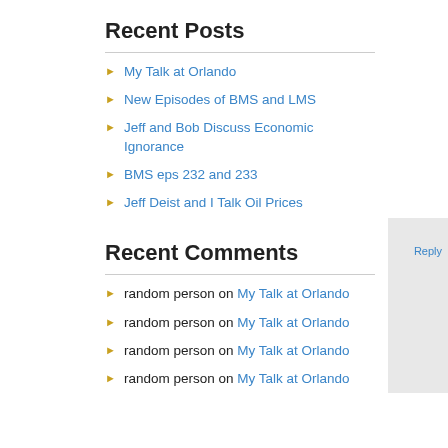Recent Posts
My Talk at Orlando
New Episodes of BMS and LMS
Jeff and Bob Discuss Economic Ignorance
BMS eps 232 and 233
Jeff Deist and I Talk Oil Prices
Recent Comments
random person on My Talk at Orlando
random person on My Talk at Orlando
random person on My Talk at Orlando
random person on My Talk at Orlando